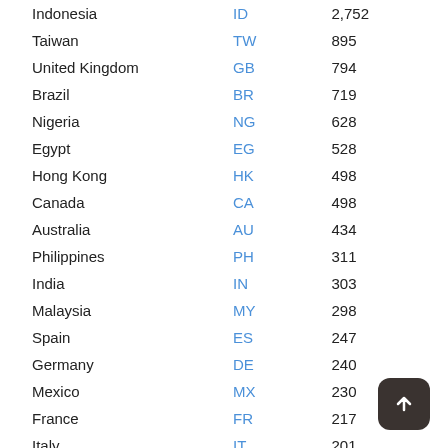| Country | Code | Value |
| --- | --- | --- |
| Indonesia | ID | 2,752 |
| Taiwan | TW | 895 |
| United Kingdom | GB | 794 |
| Brazil | BR | 719 |
| Nigeria | NG | 628 |
| Egypt | EG | 528 |
| Hong Kong | HK | 498 |
| Canada | CA | 498 |
| Australia | AU | 434 |
| Philippines | PH | 311 |
| India | IN | 303 |
| Malaysia | MY | 298 |
| Spain | ES | 247 |
| Germany | DE | 240 |
| Mexico | MX | 230 |
| France | FR | 217 |
| Italy | IT | 201 |